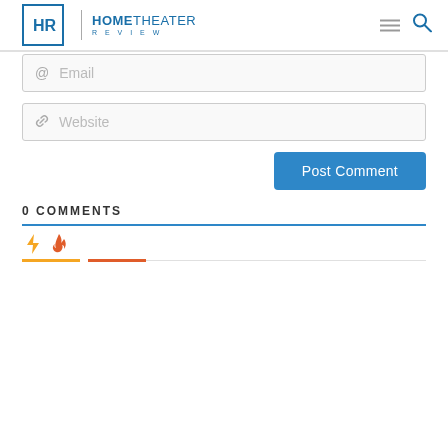HOME THEATER REVIEW
[Figure (screenshot): Email input field with @ icon placeholder]
[Figure (screenshot): Website input field with link icon placeholder]
[Figure (screenshot): Post Comment button in blue]
0 COMMENTS
[Figure (infographic): Comment tab icons: lightning bolt (yellow) and fire (orange-red) with colored underlines]